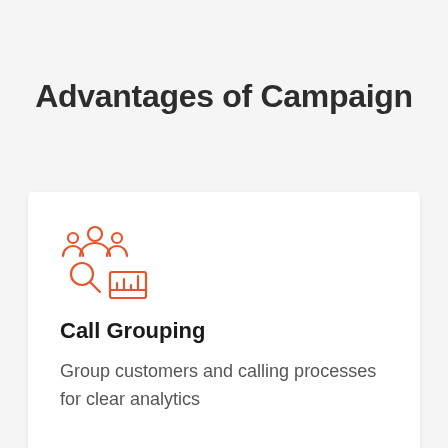Advantages of Campaign
[Figure (illustration): Orange line-art icon showing grouped people figures, a magnifying glass, and bar chart analytics]
Call Grouping
Group customers and calling processes for clear analytics